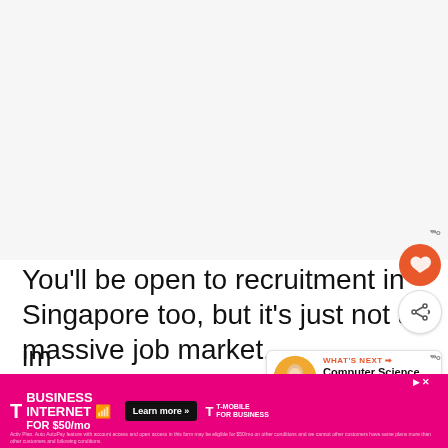[Figure (other): Large blank/light gray area occupying the top portion of the page, likely an image placeholder or advertisement space]
You'll be open to recruitment in Singapore too, but it's just not a massive job market.
The other challenge for Singapore is im[age/migration...]
[Figure (infographic): T-Mobile Business Internet advertisement banner: magenta background, T-Mobile logo, 'BUSINESS INTERNET' text, 'FOR $50/mo' pricing, 'Learn more' button, T-Mobile for Business logo, fine print text]
[Figure (other): What's Next widget showing 'Computer Science...' with a thumbnail image of a person, an orange arrow, and the label 'WHAT'S NEXT']